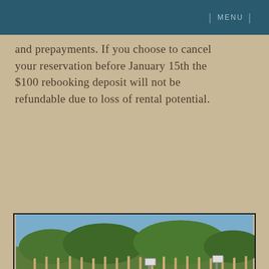MENU
and prepayments. If you choose to cancel your reservation before January 15th the $100 rebooking deposit will not be refundable due to loss of rental potential.
[Figure (photo): Two bicycles leaning against a wooden beach fence with sand dunes and green vegetation in the background]
[Figure (photo): Ocean waves breaking on a beach with blue sky in the background]